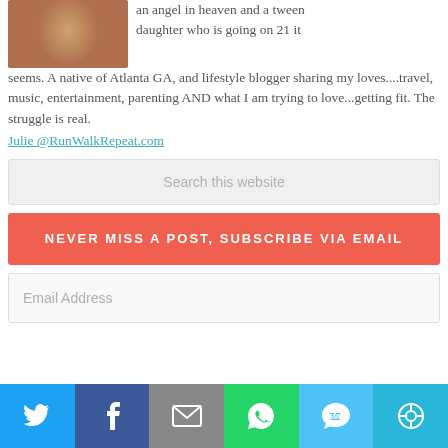[Figure (photo): Profile photo of blog author, woman in blue floral top]
an angel in heaven and a tween daughter who is going on 21 it seems. A native of Atlanta GA, and lifestyle blogger sharing my loves....travel, music, entertainment, parenting AND what I am trying to love...getting fit. The struggle is real.
Julie @RunWalkRepeat.com
Search this website
NEVER MISS A POST, SUBSCRIBE VIA EMAIL
Email Address